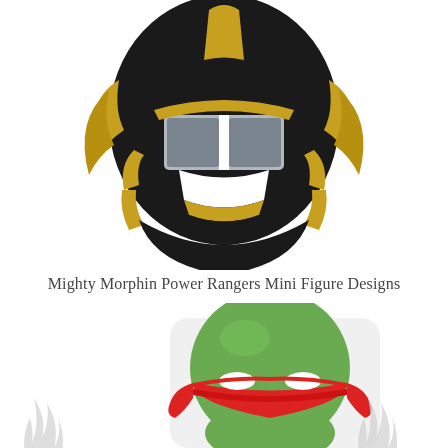[Figure (illustration): Black and gold Mighty Morphin Power Rangers helmet illustration, front view, with white visor and gold decorative elements on black helmet]
Mighty Morphin Power Rangers Mini Figure Designs
[Figure (photo): Green Teenage Mutant Ninja Turtle head mini figure with red eye mask bandana, large round green head, shown with flame decorations on sides]